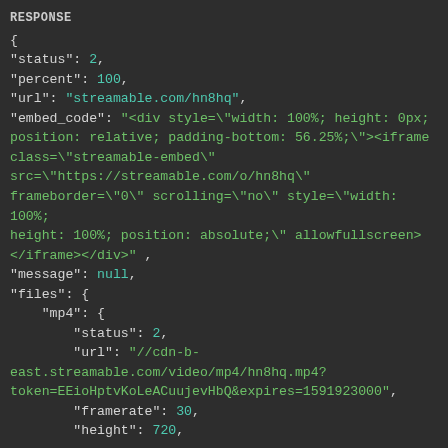RESPONSE
{
"status": 2,
"percent": 100,
"url": "streamable.com/hn8hq",
"embed_code": "<div style=\"width: 100%; height: 0px; position: relative; padding-bottom: 56.25;\"><iframe class=\"streamable-embed\" src=\"https://streamable.com/o/hn8hq\" frameborder=\"0\" scrolling=\"no\" style=\"width: 100%; height: 100%; position: absolute;\" allowfullscreen></iframe></div>" ,
"message": null,
"files": {
    "mp4": {
        "status": 2,
        "url": "//cdn-b-east.streamable.com/video/mp4/hn8hq.mp4?token=EEioHptvKoLeACuujevHbQ&expires=1591923000",
        "framerate": 30,
        "height": 720,
    }
}